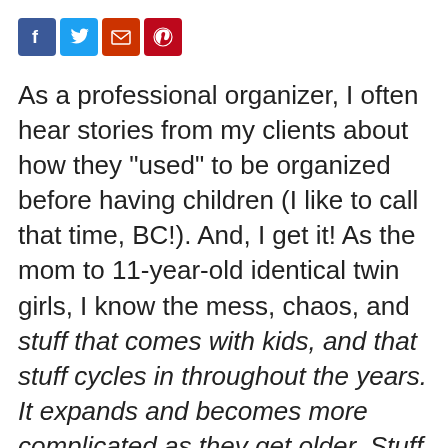[Figure (other): Social media sharing icons: Facebook (blue), Twitter (light blue), Email (red-orange), Pinterest (red)]
As a professional organizer, I often hear stories from my clients about how they "used" to be organized before having children (I like to call that time, BC!). And, I get it! As the mom to 11-year-old identical twin girls, I know the mess, chaos, and stuff that comes with kids, and that stuff cycles in throughout the years. It expands and becomes more complicated as they get older. Stuff is an inevitable part of parenting, but that doesn't mean that you have to sit back and wait for them to go to college or